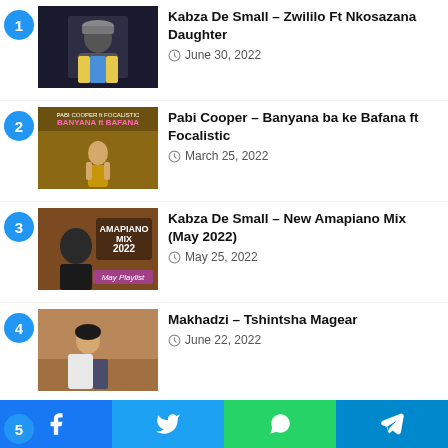Kabza De Small – Zwililo Ft Nkosazana Daughter
June 30, 2022
Pabi Cooper – Banyana ba ke Bafana ft Focalistic
March 25, 2022
Kabza De Small – New Amapiano Mix (May 2022)
May 25, 2022
Makhadzi – Tshintsha Magear
June 22, 2022
Young Stunna Ft Nkosazana Daugther – Xola